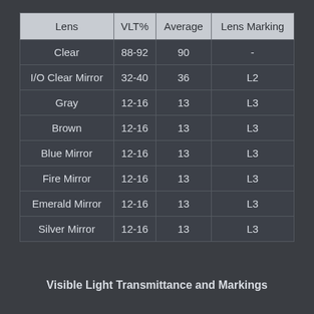| Lens | VLT% | Average | Lens Marking |
| --- | --- | --- | --- |
| Clear | 88-92 | 90 | - |
| I/O Clear Mirror | 32-40 | 36 | L2 |
| Gray | 12-16 | 13 | L3 |
| Brown | 12-16 | 13 | L3 |
| Blue Mirror | 12-16 | 13 | L3 |
| Fire Mirror | 12-16 | 13 | L3 |
| Emerald Mirror | 12-16 | 13 | L3 |
| Silver Mirror | 12-16 | 13 | L3 |
Visible Light Transmittance and Markings